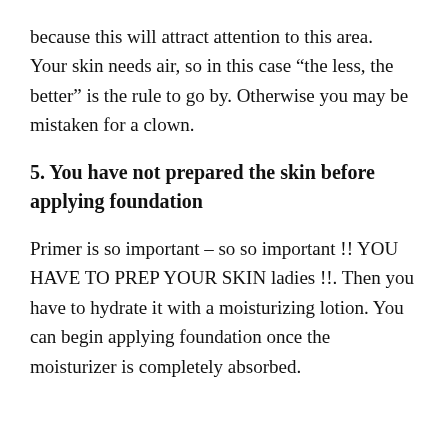because this will attract attention to this area. Your skin needs air, so in this case “the less, the better” is the rule to go by. Otherwise you may be mistaken for a clown.
5. You have not prepared the skin before applying foundation
Primer is so important – so so important !! YOU HAVE TO PREP YOUR SKIN ladies !!. Then you have to hydrate it with a moisturizing lotion. You can begin applying foundation once the moisturizer is completely absorbed.